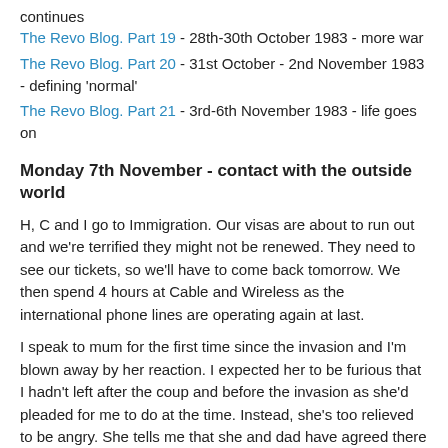continues
The Revo Blog. Part 19 - 28th-30th October 1983 - more war
The Revo Blog. Part 20 - 31st October - 2nd November 1983 - defining 'normal'
The Revo Blog. Part 21 - 3rd-6th November 1983 - life goes on
Monday 7th November - contact with the outside world
H, C and I go to Immigration. Our visas are about to run out and we're terrified they might not be renewed. They need to see our tickets, so we'll have to come back tomorrow. We then spend 4 hours at Cable and Wireless as the international phone lines are operating again at last.
I speak to mum for the first time since the invasion and I'm blown away by her reaction. I expected her to be furious that I hadn't left after the coup and before the invasion as she'd pleaded for me to do at the time. Instead, she's too relieved to be angry. She tells me that she and dad have agreed there will be no recriminations until they hear what we have been through. She even understands when I say I'm not